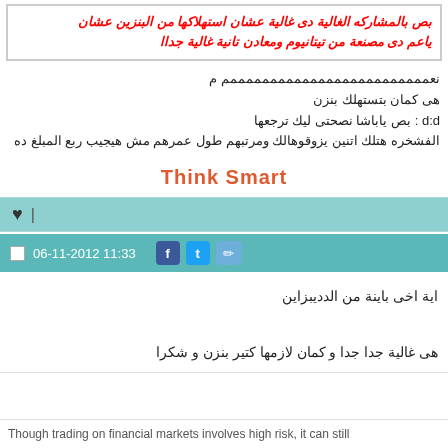بص بالمشاركه الغالية دى غالية عشان استهلاكها من البنزين عشان ياعم دى مصنعة من تيتانيوم ومعادن تانية غالية جداا
نعمممممممممممممممممممممممممم م
هى كمان بتستهلك بنزن
d:d : بص ياباشا نصحتى ليك ترجعها
الفشخره هتلك اتنين يزوقوهالك ومرتبهم طول عمرهم مش هيجيب ربع المبلغ ده
Think Smart
♥  |
06-11-2012 11:33
اية اخى باينة من الدديبزاين
هى غالية جدا جدا و كمان لازمها كتير بنزن و شكرا
Though trading on financial markets involves high risk, it can still